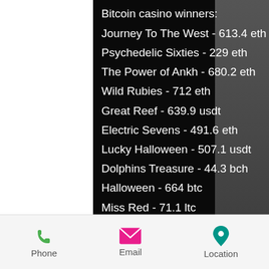Bitcoin casino winners:
Journey To The West - 613.4 eth
Psychedelic Sixties - 229 eth
The Power of Ankh - 680.2 eth
Wild Rubies - 712 eth
Great Reef - 639.9 usdt
Electric Sevens - 491.6 eth
Lucky Halloween - 507.1 usdt
Dolphins Treasure - 44.3 bch
Halloween - 664 btc
Miss Red - 71.1 ltc
Roman Legion Golden Nights - 599.4 usdt
Phoenix - 479.9 bch
Crazy 7 - 605 eth
Spin Sorceress - 581 dog
Football - 373 bch
Videoslots, card and board games:
Phone  Email  Location